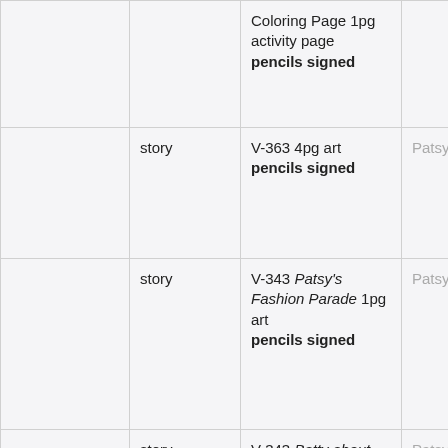|  |  |  |  |
| --- | --- | --- | --- |
|  |  | Coloring Page 1pg activity page pencils signed |  |
|  | story | V-363 4pg art pencils signed | Patsy Walker 97 |
|  | story | V-343 Patsy's Fashion Parade 1pg art pencils signed | Patsy Walker 97 |
|  | story | V-343 Batty about Blouses! 1pg paper doll page pencils signed | Patsy Walker 97 |